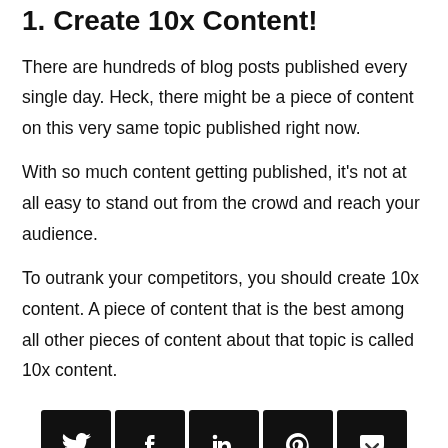1. Create 10x Content!
There are hundreds of blog posts published every single day. Heck, there might be a piece of content on this very same topic published right now.
With so much content getting published, it's not at all easy to stand out from the crowd and reach your audience.
To outrank your competitors, you should create 10x content. A piece of content that is the best among all other pieces of content about that topic is called 10x content.
[Figure (infographic): Row of five social media share buttons on black square backgrounds: Twitter, Facebook, LinkedIn, Pinterest, Pocket]